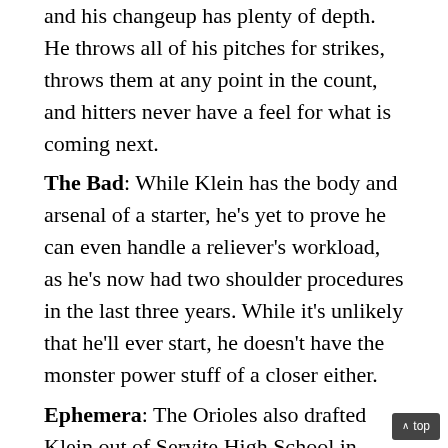and his changeup has plenty of depth. He throws all of his pitches for strikes, throws them at any point in the count, and hitters never have a feel for what is coming next.
The Bad: While Klein has the body and arsenal of a starter, he's yet to prove he can even handle a reliever's workload, as he's now had two shoulder procedures in the last three years. While it's unlikely that he'll ever start, he doesn't have the monster power stuff of a closer either.
Ephemera: The Orioles also drafted Klein out of Servite High School in 2007, where he also was a two-time offensive MVP award-winner as a quarterback.
Perfect World Projection: Late-inning reliever, but his stuff is short of closer-worthy.